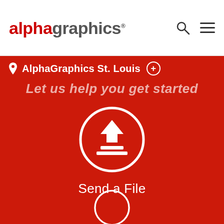[Figure (logo): AlphaGraphics logo: 'alpha' in red bold text and 'graphics' in gray bold text with registered trademark symbol]
[Figure (infographic): Search icon (magnifying glass) and hamburger menu icon in the top-right header area]
AlphaGraphics St. Louis ⊕
Let us help you get started
[Figure (illustration): White upload icon (upward arrow with a tray/base) inside a white circle outline on red background]
Send a File
[Figure (illustration): Partially visible white circle at the bottom of the page, indicating another icon below]